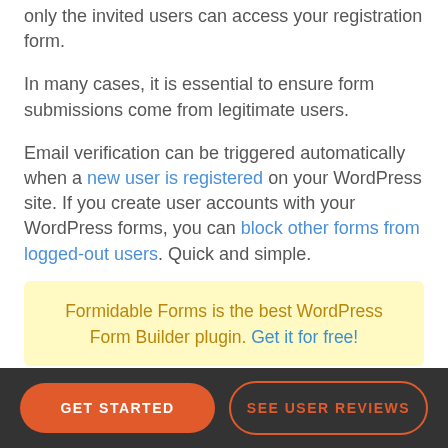only the invited users can access your registration form.
In many cases, it is essential to ensure form submissions come from legitimate users.
Email verification can be triggered automatically when a new user is registered on your WordPress site. If you create user accounts with your WordPress forms, you can block other forms from logged-out users. Quick and simple.
Formidable Forms is the best WordPress Form Builder plugin. Get it for free!
GET STARTED
SEE USER REVIEWS